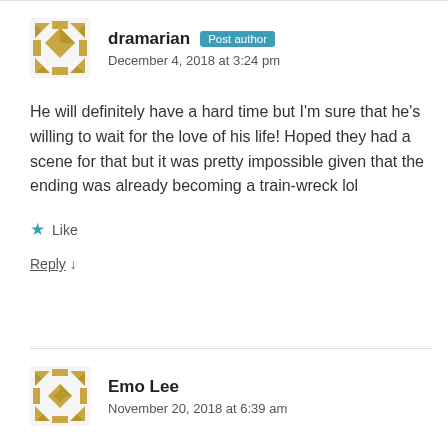[Figure (illustration): Gold geometric/quilt pattern avatar for user dramarian]
dramarian Post author
December 4, 2018 at 3:24 pm
He will definitely have a hard time but I'm sure that he's willing to wait for the love of his life! Hoped they had a scene for that but it was pretty impossible given that the ending was already becoming a train-wreck lol
★ Like
Reply ↓
[Figure (illustration): Gold geometric/quilt pattern avatar for user Emo Lee]
Emo Lee
November 20, 2018 at 6:39 am